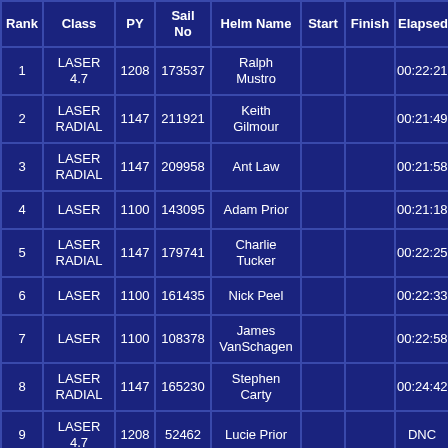| Rank | Class | PY | Sail No | Helm Name | Start | Finish | Elapsed |
| --- | --- | --- | --- | --- | --- | --- | --- |
| 1 | LASER 4.7 | 1208 | 173537 | Ralph Mustro |  |  | 00:22:21 |
| 2 | LASER RADIAL | 1147 | 211921 | Keith Gilmour |  |  | 00:21:49 |
| 3 | LASER RADIAL | 1147 | 209958 | Ant Law |  |  | 00:21:58 |
| 4 | LASER | 1100 | 143095 | Adam Prior |  |  | 00:21:18 |
| 5 | LASER RADIAL | 1147 | 179741 | Charlie Tucker |  |  | 00:22:25 |
| 6 | LASER | 1100 | 161435 | Nick Peel |  |  | 00:22:33 |
| 7 | LASER | 1100 | 108378 | James VanSchagen |  |  | 00:22:58 |
| 8 | LASER RADIAL | 1147 | 165230 | Stephen Carty |  |  | 00:24:42 |
| 9 | LASER 4.7 | 1208 | 52462 | Lucie Prior |  |  | DNC |
| 9 | LASER RADIAL | 1147 | 20908 | James Hutton-B… |  |  | DNC |